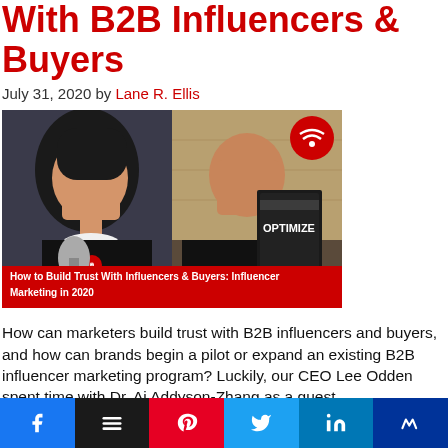20 Tips to Build Trust With B2B Influencers & Buyers
July 31, 2020 by Lane R. Ellis
[Figure (photo): Video thumbnail showing two people: a woman with short black hair holding a microphone on the left, and a man holding a book titled 'OPTIMIZE' on the right. A red banner at the bottom reads 'How to Build Trust With Influencers & Buyers: Influencer Marketing in 2020'. A circular logo appears in the upper right corner.]
How can marketers build trust with B2B influencers and buyers, and how can brands begin a pilot or expand an existing B2B influencer marketing program? Luckily, our CEO Lee Odden spent time with Dr. Ai Addyson-Zhang as a guest
Social share bar with Facebook, Buffer, Pinterest, Twitter, LinkedIn, and Missinglettr buttons